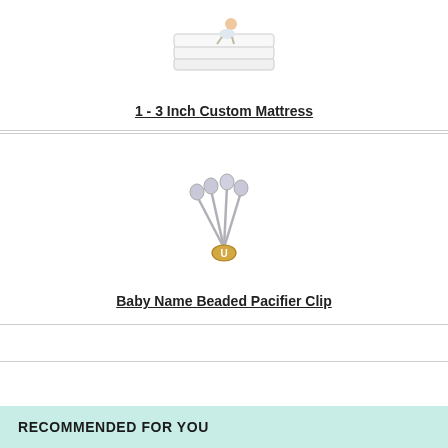[Figure (photo): Baby sitting on a white custom mattress stack]
1 - 3 Inch Custom Mattress
[Figure (photo): Baby name beaded pacifier clip with silver chain and letter beads]
Baby Name Beaded Pacifier Clip
RECOMMENDED FOR YOU